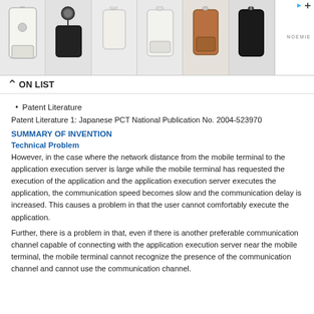[Figure (screenshot): Advertisement banner showing phone cases and accessories with lanyard straps, with NOEMIE brand name on the right side]
ON LIST
Patent Literature
Patent Literature 1: Japanese PCT National Publication No. 2004-523970
SUMMARY OF INVENTION
Technical Problem
However, in the case where the network distance from the mobile terminal to the application execution server is large while the mobile terminal has requested the execution of the application and the application execution server executes the application, the communication speed becomes slow and the communication delay is increased. This causes a problem in that the user cannot comfortably execute the application.
Further, there is a problem in that, even if there is another preferable communication channel capable of connecting with the application execution server near the mobile terminal, the mobile terminal cannot recognize the presence of the communication channel and cannot use the communication channel.